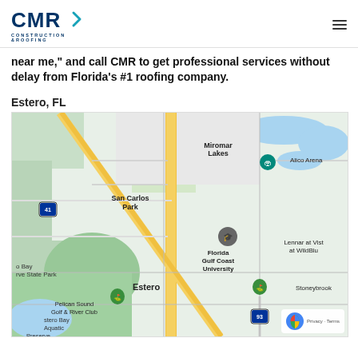CMR Construction & Roofing
near me," and call CMR to get professional services without delay from Florida's #1 roofing company.
Estero, FL
[Figure (map): Google Maps view of Estero, FL area showing San Carlos Park, Miromar Lakes, Florida Gulf Coast University, Alico Arena, Stoneybrook, Pelican Sound Golf & River Club, and Estero Bay Aquatic Preserve State Park. Major roads including US-41 and I-75 visible.]